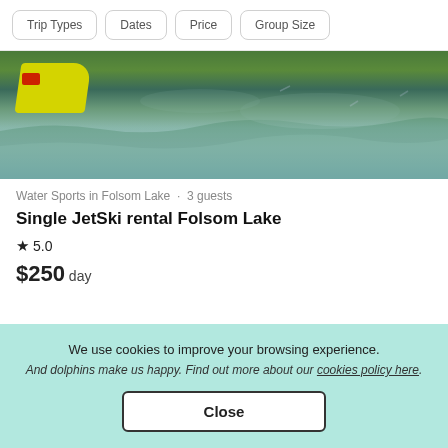Trip Types | Dates | Price | Group Size
[Figure (photo): Jet ski on water at Folsom Lake, showing yellow and red jet ski with rippling green-brown water]
Water Sports in Folsom Lake · 3 guests
Single JetSki rental Folsom Lake
★ 5.0
$250 day
We use cookies to improve your browsing experience.
And dolphins make us happy. Find out more about our cookies policy here.
Close